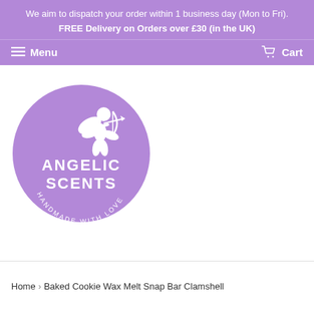We aim to dispatch your order within 1 business day (Mon to Fri). FREE Delivery on Orders over £30 (in the UK)
Menu   Cart
[Figure (logo): Angelic Scents circular logo - purple circle with white cherub/angel silhouette holding bow and arrow, text ANGELIC SCENTS in center, HANDMADE WITH LOVE curved around bottom]
Home  ›  Baked Cookie Wax Melt Snap Bar Clamshell